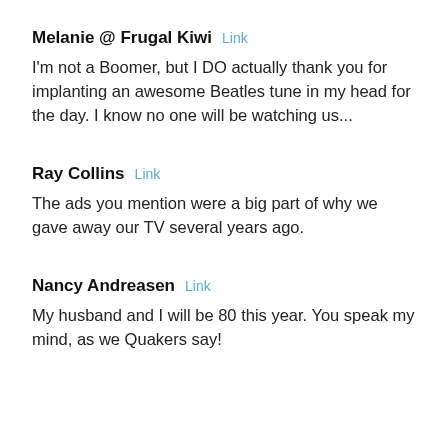Melanie @ Frugal Kiwi  Link
I'm not a Boomer, but I DO actually thank you for implanting an awesome Beatles tune in my head for the day. I know no one will be watching us...
Ray Collins  Link
The ads you mention were a big part of why we gave away our TV several years ago.
Nancy Andreasen  Link
My husband and I will be 80 this year. You speak my mind, as we Quakers say!